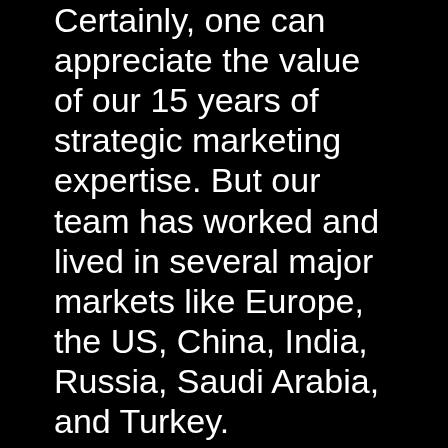Certainly, one can appreciate the value of our 15 years of strategic marketing expertise. But our team has worked and lived in several major markets like Europe, the US, China, India, Russia, Saudi Arabia, and Turkey. Effectively, that makes us the go-to agency for international projects or culturally sensitive marketing. And let's face it – all marketing projects nowadays are culturally sensitive.

Lastly, we are a holistic agency with a wide range of tools. That translates into comprehensive and consistent marketing campaigns